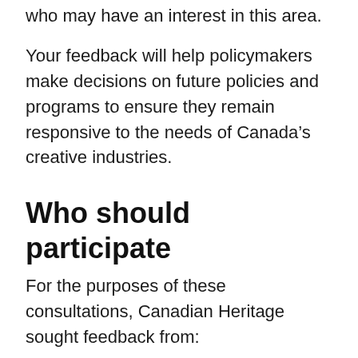who may have an interest in this area.
Your feedback will help policymakers make decisions on future policies and programs to ensure they remain responsive to the needs of Canada’s creative industries.
Who should participate
For the purposes of these consultations, Canadian Heritage sought feedback from:
Canadian businesses and organizations operating in the creative sector, including those owned and/or led by equity-deserving communities, and